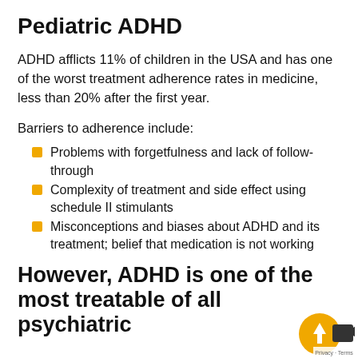Pediatric ADHD
ADHD afflicts 11% of children in the USA and has one of the worst treatment adherence rates in medicine, less than 20% after the first year.
Barriers to adherence include:
Problems with forgetfulness and lack of follow-through
Complexity of treatment and side effect using schedule II stimulants
Misconceptions and biases about ADHD and its treatment; belief that medication is not working
However, ADHD is one of the most treatable of all psychiatric